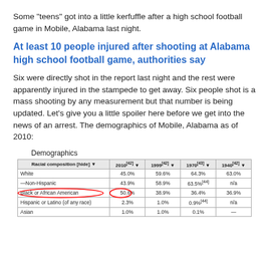Some "teens" got into a little kerfuffle after a high school football game in Mobile, Alabama last night.
At least 10 people injured after shooting at Alabama high school football game, authorities say
Six were directly shot in the report last night and the rest were apparently injured in the stampede to get away. Six people shot is a mass shooting by any measurement but that number is being updated. Let's give you a little spoiler here before we get into the news of an arrest. The demographics of Mobile, Alabama as of 2010:
| Racial composition [hide] | 2010[42] | 1999[42] | 1970[43] | 1940[42] |
| --- | --- | --- | --- | --- |
| White | 45.0% | 59.6% | 64.3% | 63.0% |
| —Non-Hispanic | 43.9% | 58.9% | 63.5%[44] | n/a |
| Black or African American | 50.6% | 38.9% | 36.4% | 36.9% |
| Hispanic or Latino (of any race) | 2.3% | 1.0% | 0.9%[44] | n/a |
| Asian | 1.0% | 1.0% | 0.1% | — |